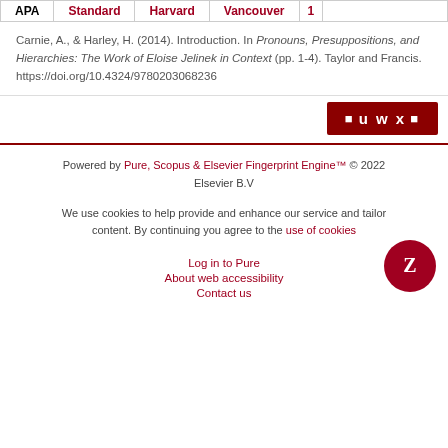APA | Standard | Harvard | Vancouver | 1
Carnie, A., & Harley, H. (2014). Introduction. In Pronouns, Presuppositions, and Hierarchies: The Work of Eloise Jelinek in Context (pp. 1-4). Taylor and Francis. https://doi.org/10.4324/9780203068236
[Figure (other): Dark red button with icons and letters: u w x]
Powered by Pure, Scopus & Elsevier Fingerprint Engine™ © 2022 Elsevier B.V
We use cookies to help provide and enhance our service and tailor content. By continuing you agree to the use of cookies
Log in to Pure
About web accessibility
Contact us